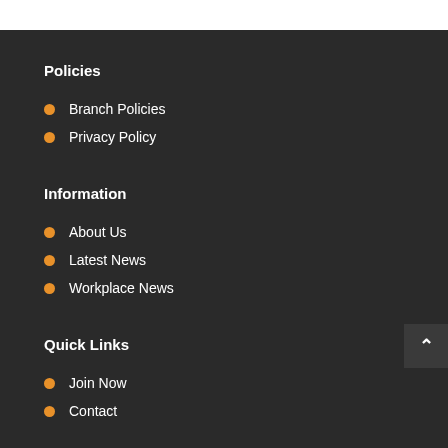Policies
Branch Policies
Privacy Policy
Information
About Us
Latest News
Workplace News
Quick Links
Join Now
Contact